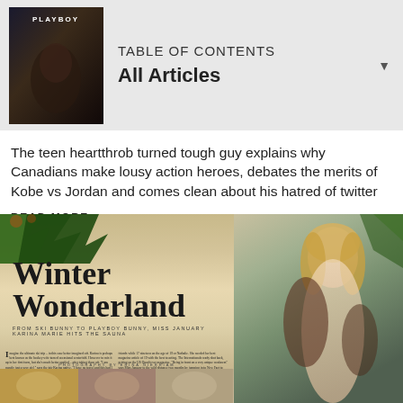TABLE OF CONTENTS
All Articles
The teen heartthrob turned tough guy explains why Canadians make lousy action heroes, debates the merits of Kobe vs Jordan and comes clean about his hatred of twitter
READ MORE
[Figure (photo): Magazine spread showing 'Winter Wonderland' article with pine trees, article text, photography credit by Erina Gierriam, and bottom thumbnail photos on the left page; a blonde woman posing outdoors in a winter setting on the right page.]